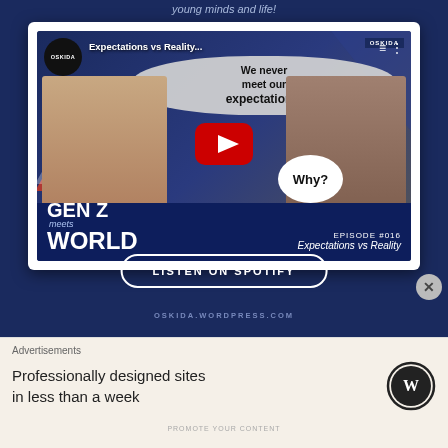young minds and life!
[Figure (screenshot): YouTube video thumbnail for 'Gen Z meets World' Episode #016 'Expectations vs Reality' on OSKIDA channel, showing two young women being interviewed with speech bubbles 'We never meet our expectations.' and 'Why?' with YouTube play button overlay]
LISTEN ON SPOTIFY
OSKIDA.WORDPRESS.COM
Advertisements
Professionally designed sites in less than a week